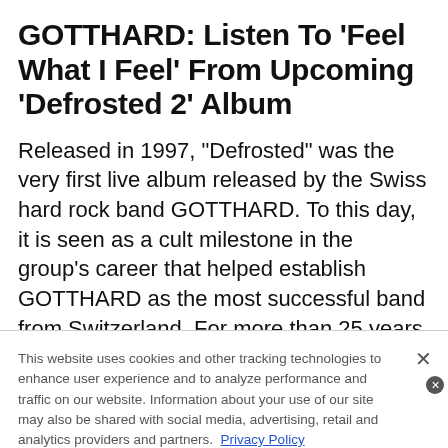GOTTHARD: Listen To 'Feel What I Feel' From Upcoming 'Defrosted 2' Album
Released in 1997, "Defrosted" was the very first live album released by the Swiss hard rock band GOTTHARD. To this day, it is seen as a cult milestone in the group's career that helped establish GOTTHARD as the most successful band from Switzerland. For more than 25 years, GOTTHARD has thrived in...
This website uses cookies and other tracking technologies to enhance user experience and to analyze performance and traffic on our website. Information about your use of our site may also be shared with social media, advertising, retail and analytics providers and partners. Privacy Policy
[Figure (infographic): SmartPak advertisement banner: horse supplement brand with image of horse and rider, '50% Off Two Months of ColiCare', CODE: COLICARE10, Shop Now button]